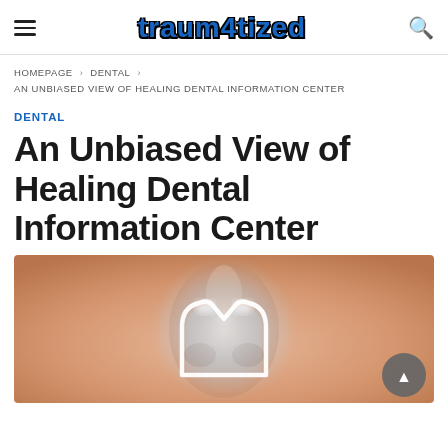traum4tized
HOMEPAGE › DENTAL › AN UNBIASED VIEW OF HEALING DENTAL INFORMATION CENTER
DENTAL
An Unbiased View of Healing Dental Information Center
[Figure (photo): Close-up photo of a person's nose/face with a glowing dental crown or tooth shape illustrated in white light overlay on the skin]